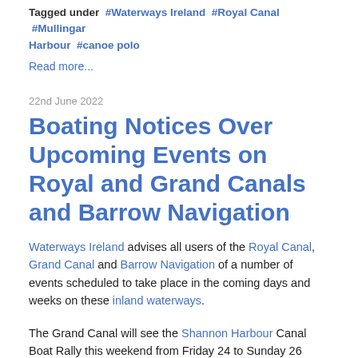Tagged under #Waterways Ireland #Royal Canal #Mullingar Harbour #canoe polo
Read more...
22nd June 2022
Boating Notices Over Upcoming Events on Royal and Grand Canals and Barrow Navigation
Waterways Ireland advises all users of the Royal Canal, Grand Canal and Barrow Navigation of a number of events scheduled to take place in the coming days and weeks on these inland waterways.
The Grand Canal will see the Shannon Harbour Canal Boat Rally this weekend from Friday 24 to Sunday 26 June, hosted by the Inland Waterways Association of Ireland (IWAI). Vessels attending are required to apply for a free visitors permit before